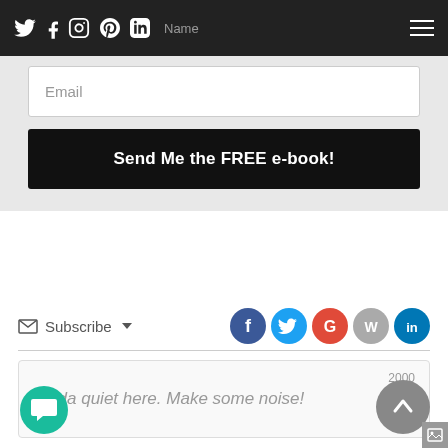Social media icons (Twitter, Facebook, Instagram, Pinterest, LinkedIn) and hamburger menu
Name
Email
Send Me the FREE e-book!
Subscribe
[Figure (infographic): Social share icons: Facebook (blue), Twitter (cyan), Google (red/orange), WordPress (gray), LinkedIn (blue)]
Kinda quiet here. Make some noise!
2000